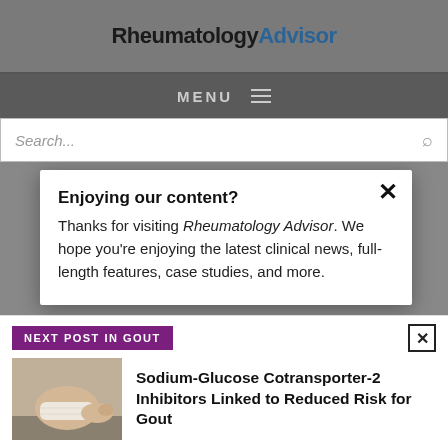Rheumatology Advisor
MENU
Search...
Enjoying our content?
Thanks for visiting Rheumatology Advisor. We hope you're enjoying the latest clinical news, full-length features, case studies, and more.
NEXT POST IN GOUT
Sodium-Glucose Cotransporter-2 Inhibitors Linked to Reduced Risk for Gout
LOGIN
REGISTER